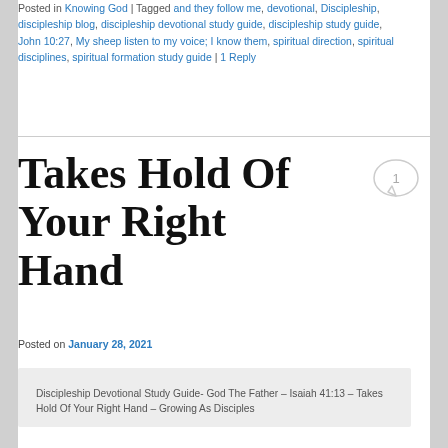Posted in Knowing God | Tagged and they follow me, devotional, Discipleship, discipleship blog, discipleship devotional study guide, discipleship study guide, John 10:27, My sheep listen to my voice; I know them, spiritual direction, spiritual disciplines, spiritual formation study guide | 1 Reply
Takes Hold Of Your Right Hand
Posted on January 28, 2021
Discipleship Devotional Study Guide- God The Father – Isaiah 41:13 – Takes Hold Of Your Right Hand – Growing As Disciples